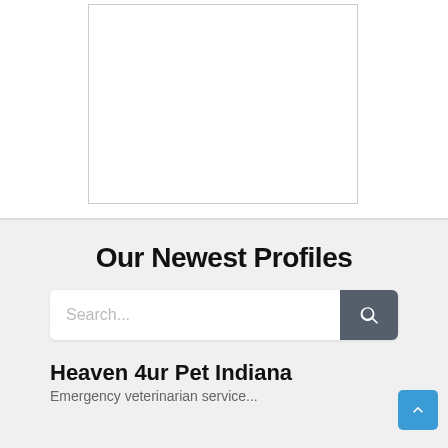[Figure (other): Empty white rectangular placeholder image with a thin gray border]
Our Newest Profiles
Search...
Heaven 4ur Pet Indiana
Emergency veterinarian service...